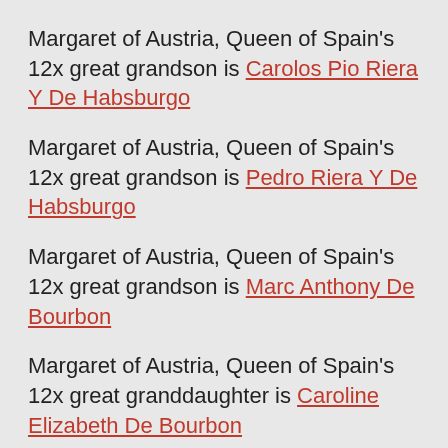Margaret of Austria, Queen of Spain's 12x great grandson is Carolos Pio Riera Y De Habsburgo
Margaret of Austria, Queen of Spain's 12x great grandson is Pedro Riera Y De Habsburgo
Margaret of Austria, Queen of Spain's 12x great grandson is Marc Anthony De Bourbon
Margaret of Austria, Queen of Spain's 12x great granddaughter is Caroline Elizabeth De Bourbon
Margaret of Austria, Queen of Spain's 12x great granddaughter is Elizabeth De Bourbon
Margaret of Austria, Queen of Spain's 12x